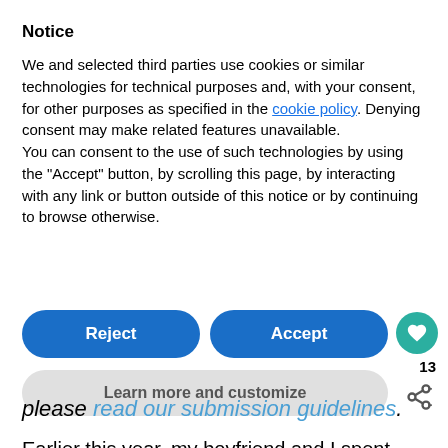Notice
We and selected third parties use cookies or similar technologies for technical purposes and, with your consent, for other purposes as specified in the cookie policy. Denying consent may make related features unavailable.
You can consent to the use of such technologies by using the "Accept" button, by scrolling this page, by interacting with any link or button outside of this notice or by continuing to browse otherwise.
[Figure (screenshot): Two buttons side by side: 'Reject' (blue, rounded) and 'Accept' (blue, rounded), and below them a 'Learn more and customize' button (light gray, rounded). A teal heart icon button and share icon are on the right side.]
please read our submission guidelines.
Earlier this year, my boyfriend and I spent two